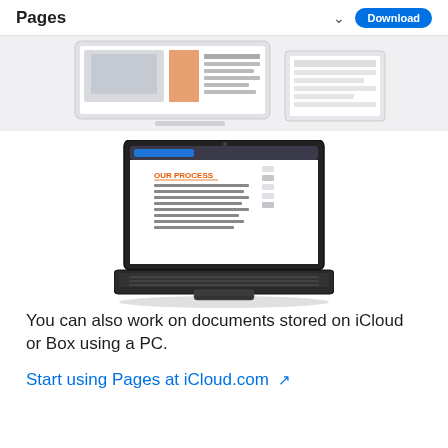Pages  ∨  Download
[Figure (screenshot): Partial cropped view of a Pages document on a tablet/laptop screen, showing a document with images and text columns]
[Figure (screenshot): A laptop showing a Pages document with the heading OUR PROCESS in orange and body text below it]
You can also work on documents stored on iCloud or Box using a PC.
Start using Pages at iCloud.com ↗